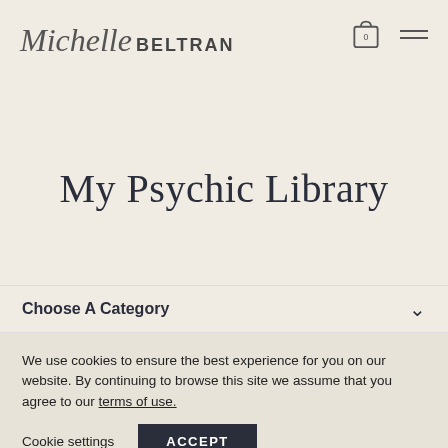Michelle BELTRAN — logo and navigation header
My Psychic Library
Choose A Category
We use cookies to ensure the best experience for you on our website. By continuing to browse this site we assume that you agree to our terms of use.
Cookie settings   ACCEPT
[Figure (photo): Teal/turquoise smoke or liquid abstract image at the bottom of the page]